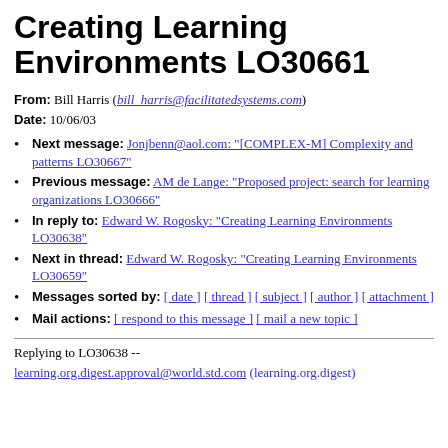Creating Learning Environments LO30661
From: Bill Harris (bill_harris@facilitatedsystems.com)
Date: 10/06/03
Next message: Jonjbenn@aol.com: "[COMPLEX-M] Complexity and patterns LO30667"
Previous message: AM de Lange: "Proposed project: search for learning organizations LO30666"
In reply to: Edward W. Rogosky: "Creating Learning Environments LO30638"
Next in thread: Edward W. Rogosky: "Creating Learning Environments LO30659"
Messages sorted by: [ date ] [ thread ] [ subject ] [ author ] [ attachment ]
Mail actions: [ respond to this message ] [ mail a new topic ]
Replying to LO30638 --
learning.org.digest.approval@world.std.com (learning.org.digest)